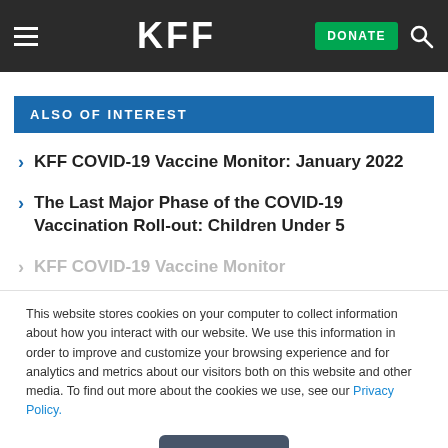KFF — DONATE (navigation header)
ALSO OF INTEREST
KFF COVID-19 Vaccine Monitor: January 2022
The Last Major Phase of the COVID-19 Vaccination Roll-out: Children Under 5
KFF COVID-19 Vaccine Monitor
This website stores cookies on your computer to collect information about how you interact with our website. We use this information in order to improve and customize your browsing experience and for analytics and metrics about our visitors both on this website and other media. To find out more about the cookies we use, see our Privacy Policy.
Accept